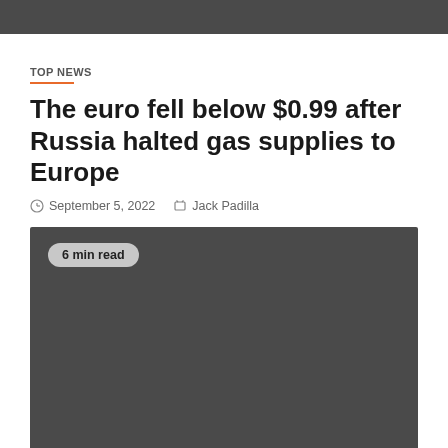TOP NEWS
The euro fell below $0.99 after Russia halted gas supplies to Europe
September 5, 2022   Jack Padilla
[Figure (photo): Dark placeholder image with '6 min read' badge in the upper left corner]
TOP NEWS